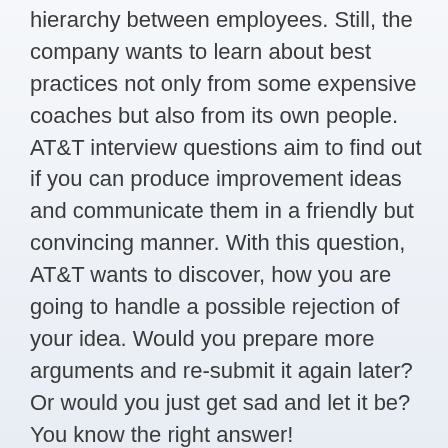hierarchy between employees. Still, the company wants to learn about best practices not only from some expensive coaches but also from its own people. AT&T interview questions aim to find out if you can produce improvement ideas and communicate them in a friendly but convincing manner. With this question, AT&T wants to discover, how you are going to handle a possible rejection of your idea. Would you prepare more arguments and re-submit it again later? Or would you just get sad and let it be? You know the right answer!